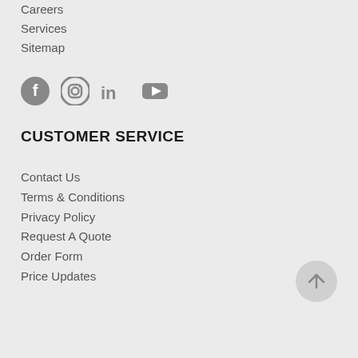Careers
Services
Sitemap
[Figure (other): Social media icons: Facebook, Instagram, LinkedIn, YouTube]
CUSTOMER SERVICE
Contact Us
Terms & Conditions
Privacy Policy
Request A Quote
Order Form
Price Updates
[Figure (other): Scroll to top button with upward arrow icon]